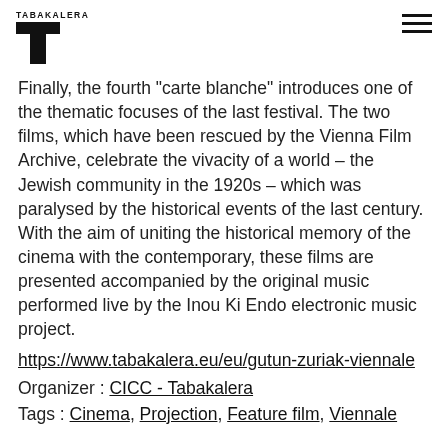TABAKALERA
Finally, the fourth "carte blanche" introduces one of the thematic focuses of the last festival. The two films, which have been rescued by the Vienna Film Archive, celebrate the vivacity of a world – the Jewish community in the 1920s – which was paralysed by the historical events of the last century. With the aim of uniting the historical memory of the cinema with the contemporary, these films are presented accompanied by the original music performed live by the Inou Ki Endo electronic music project.
https://www.tabakalera.eu/eu/gutun-zuriak-viennale
Organizer : CICC - Tabakalera
Tags : Cinema, Projection, Feature film, Viennale